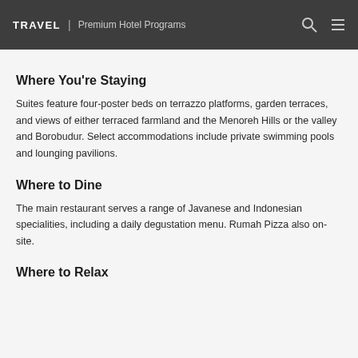TRAVEL | Premium Hotel Programs
Where You're Staying
Suites feature four-poster beds on terrazzo platforms, garden terraces, and views of either terraced farmland and the Menoreh Hills or the valley and Borobudur. Select accommodations include private swimming pools and lounging pavilions.
Where to Dine
The main restaurant serves a range of Javanese and Indonesian specialities, including a daily degustation menu. Rumah Pizza also on-site.
Where to Relax